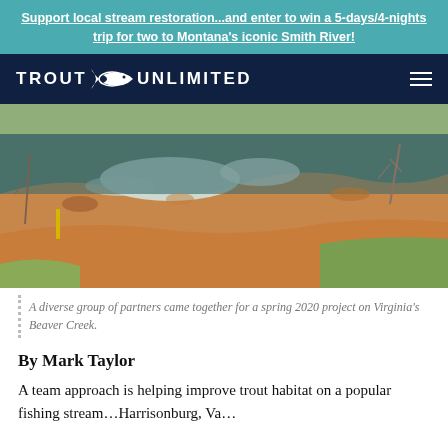Support local stream restoration...and enter to win a 5-days/4-nights trip for two to Montana's iconic Smith River!
[Figure (logo): Trout Unlimited logo with fish icon and hamburger menu on dark navy navigation bar]
[Figure (photo): A stream with white water rapids, sandy/orange rocky banks, dry grass and green grass, bare trees in background - Beaver Creek, Virginia, spring 2020 project]
A diverse group of partners came together for a spring 2020 project on Virginia's Beaver Creek.
By Mark Taylor
A team approach is helping improve trout habitat on a popular fishing stream...Harrison...Va...